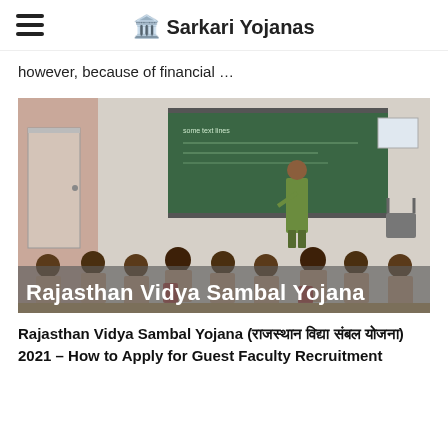Sarkari Yojanas
however, because of financial …
[Figure (photo): Classroom scene with children seated at desks and a teacher writing on a blackboard. Overlaid text reads 'Rajasthan Vidya Sambal Yojana']
Rajasthan Vidya Sambal Yojana (राजस्थान विद्या संबल योजना) 2021 – How to Apply for Guest Faculty Recruitment